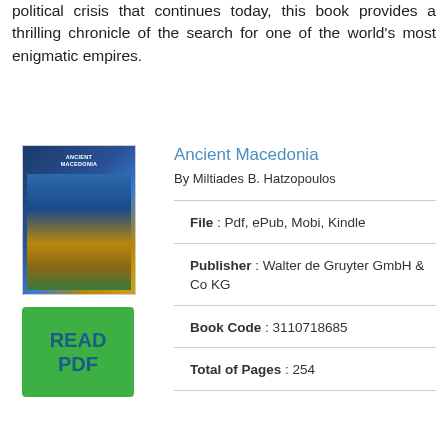political crisis that continues today, this book provides a thrilling chronicle of the search for one of the world's most enigmatic empires.
Ancient Macedonia
By Miltiades B. Hatzopoulos
[Figure (illustration): Book cover of Ancient Macedonia with blue and golden tones]
[Figure (other): Green READ PDF button]
File : Pdf, ePub, Mobi, Kindle
Publisher : Walter de Gruyter GmbH & Co KG
Book Code : 3110718685
Total of Pages : 254